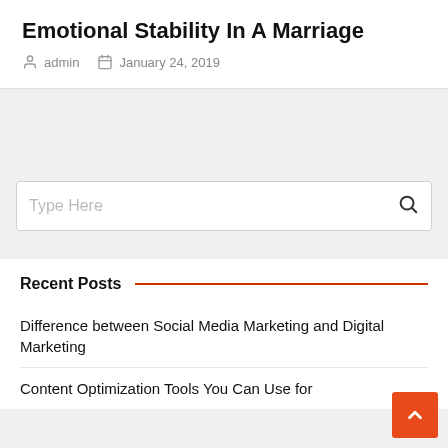Emotional Stability In A Marriage
admin   January 24, 2019
[Figure (other): Search box with placeholder text 'Type Here' and a search icon on the right]
Recent Posts
Difference between Social Media Marketing and Digital Marketing
Content Optimization Tools You Can Use for